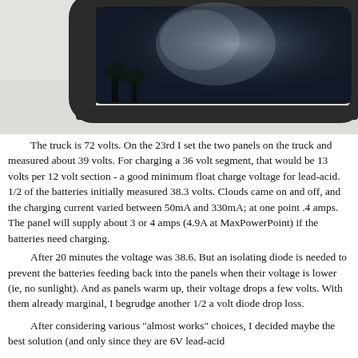[Figure (photo): Close-up photograph of the corner of a vehicle window/windshield. The window has a dark tinted glass with a rounded black rubber seal/trim around the edge. The vehicle body is white. Sky and trees are faintly reflected in the glass.]
The truck is 72 volts. On the 23rd I set the two panels on the truck and measured about 39 volts. For charging a 36 volt segment, that would be 13 volts per 12 volt section - a good minimum float charge voltage for lead-acid. 1/2 of the batteries initially measured 38.3 volts. Clouds came on and off, and the charging current varied between 50mA and 330mA; at one point .4 amps. The panel will supply about 3 or 4 amps (4.9A at MaxPowerPoint) if the batteries need charging.
After 20 minutes the voltage was 38.6. But an isolating diode is needed to prevent the batteries feeding back into the panels when their voltage is lower (ie, no sunlight). And as panels warm up, their voltage drops a few volts. With them already marginal, I begrudge another 1/2 a volt diode drop loss.
After considering various "almost works" choices, I decided maybe the best solution (and only since they are 6V lead-acid